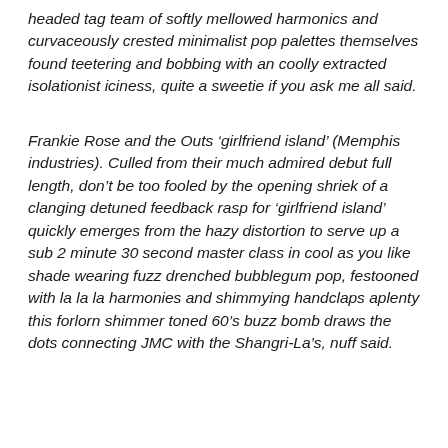headed tag team of softly mellowed harmonics and curvaceously crested minimalist pop palettes themselves found teetering and bobbing with an coolly extracted isolationist iciness, quite a sweetie if you ask me all said.
Frankie Rose and the Outs ‘girlfriend island’ (Memphis industries). Culled from their much admired debut full length, don’t be too fooled by the opening shriek of a clanging detuned feedback rasp for ‘girlfriend island’ quickly emerges from the hazy distortion to serve up a sub 2 minute 30 second master class in cool as you like shade wearing fuzz drenched bubblegum pop, festooned with la la la harmonies and shimmying handclaps aplenty this forlorn shimmer toned 60’s buzz bomb draws the dots connecting JMC with the Shangri-La’s, nuff said.